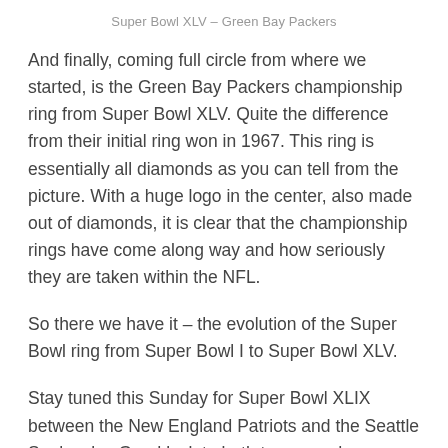Super Bowl XLV – Green Bay Packers
And finally, coming full circle from where we started, is the Green Bay Packers championship ring from Super Bowl XLV. Quite the difference from their initial ring won in 1967. This ring is essentially all diamonds as you can tell from the picture. With a huge logo in the center, also made out of diamonds, it is clear that the championship rings have come along way and how seriously they are taken within the NFL.
So there we have it – the evolution of the Super Bowl ring from Super Bowl I to Super Bowl XLV.
Stay tuned this Sunday for Super Bowl XLIX between the New England Patriots and the Seattle Seahawks. Good luck to both teams and may your Super Bowl...